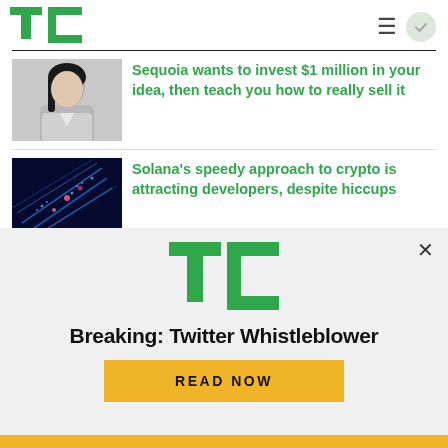[Figure (logo): TechCrunch TC logo in green]
[Figure (photo): Woman with long black hair in white jacket - Sequoia article thumbnail]
Sequoia wants to invest $1 million in your idea, then teach you how to really sell it
[Figure (photo): Abstract blue digital/tech light streaks - Solana article thumbnail]
Solana's speedy approach to crypto is attracting developers, despite hiccups
[Figure (logo): TechCrunch TC logo large green - advertisement]
Breaking: Twitter Whistleblower
READ NOW